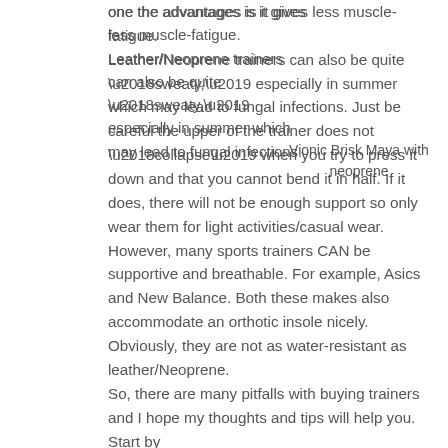one the advantages is it gives less muscle-fatigue. Leather/Neoprene trainers can also be quite ‘sweaty,’ especially in summer which may lead to fungal infections. Just be careful the upper of the trainer does not ‘collapse’ when you try to press it down and that you cannot bend it in half. If it does, there will not be enough support so only wear them for light activities/casual wear. However, many sports trainers CAN be supportive and breathable. For example, Asics and New Balance. Both these makes also accommodate an orthotic insole nicely. Obviously, they are not as water-resistant as leather/Neoprene.
Vionic Brisk Maya with neoprene
So, there are many pitfalls with buying trainers and I hope my thoughts and tips will help you. Start by